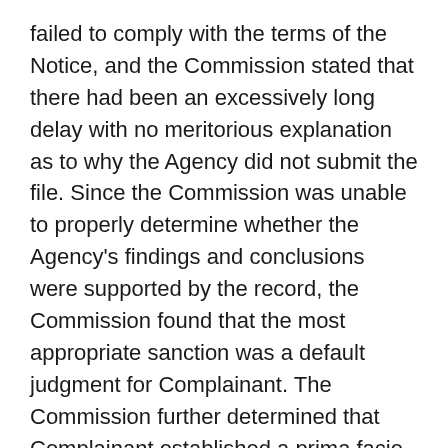failed to comply with the terms of the Notice, and the Commission stated that there had been an excessively long delay with no meritorious explanation as to why the Agency did not submit the file. Since the Commission was unable to properly determine whether the Agency's findings and conclusions were supported by the record, the Commission found that the most appropriate sanction was a default judgment for Complainant. The Commission further determined that Complainant established a prima facie case of retaliation, and was entitled to individual remedies. Complainant v. Broad. Bd. Of Governors, EEOC Appeal No. 0120110117 (November 6, 2014).
Commission Affirms Sanctions Imposed on Agency. Complainant filed a complaint alleging the Agency discriminated against her on the basis of race and in reprisal for protected EEO activity with regard to her